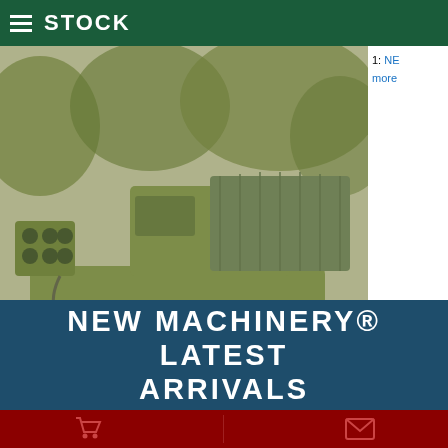STOCK
[Figure (photo): Olive green military tracked vehicle (M270 MLRS or similar) parked outdoors, with canvas cover over rear, photographed in sepia/green tint. Banner overlay reads: EX MOD VEHICLES, CARS & EQUIPMENT with red chevron arrows on each side.]
2009-06-26
NEW MACHINERY® LATEST ARRIVALS